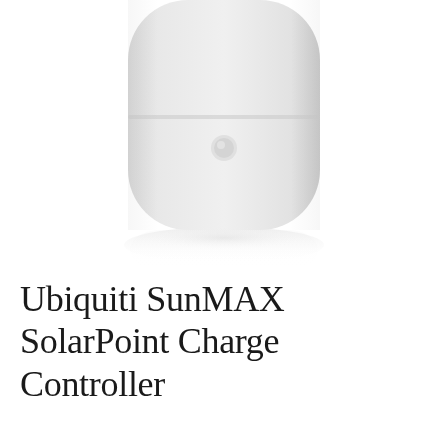[Figure (photo): Close-up photograph of a white rounded wireless device (Ubiquiti SunMAX SolarPoint Charge Controller) shown against a white background with a subtle reflection beneath it. The device is compact, capsule-shaped with rounded corners, and has a small circular LED or button on its surface. It is shown from a low angle with the bottom portion and its reflection visible.]
Ubiquiti SunMAX SolarPoint Charge Controller